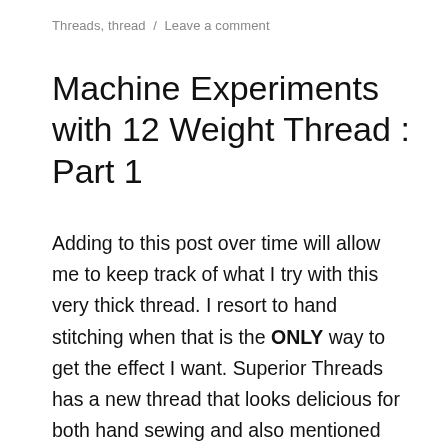Threads, thread  /  Leave a comment
Machine Experiments with 12 Weight Thread : Part 1
Adding to this post over time will allow me to keep track of what I try with this very thick thread. I resort to hand stitching when that is the ONLY way to get the effect I want. Superior Threads has a new thread that looks delicious for both hand sewing and also mentioned that their Sew Sassy 12 wt/3-ply Polyester thread can be run through a machine. This thread is kinda fuzzy and thick and looks like cotton, but